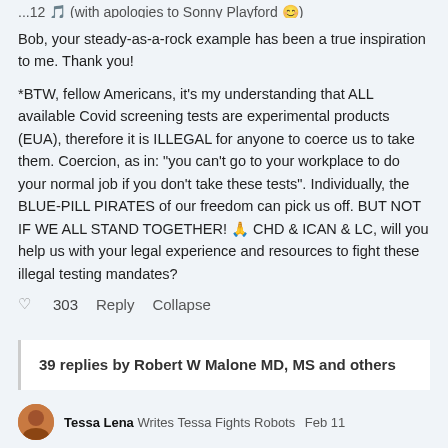...12 🎵 (with apologies to Sonny Playford 😊)
Bob, your steady-as-a-rock example has been a true inspiration to me. Thank you!
*BTW, fellow Americans, it's my understanding that ALL available Covid screening tests are experimental products (EUA), therefore it is ILLEGAL for anyone to coerce us to take them. Coercion, as in: "you can't go to your workplace to do your normal job if you don't take these tests". Individually, the BLUE-PILL PIRATES of our freedom can pick us off. BUT NOT IF WE ALL STAND TOGETHER! 🙏 CHD & ICAN & LC, will you help us with your legal experience and resources to fight these illegal testing mandates?
♡  303   Reply   Collapse
39 replies by Robert W Malone MD, MS and others
Tessa Lena   Writes Tessa Fights Robots   Feb 11